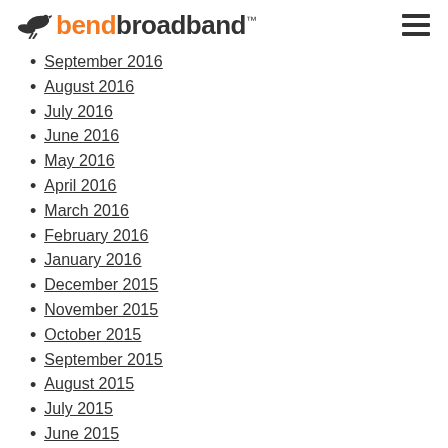bendbroadband
September 2016
August 2016
July 2016
June 2016
May 2016
April 2016
March 2016
February 2016
January 2016
December 2015
November 2015
October 2015
September 2015
August 2015
July 2015
June 2015
May 2015
April 2015
March 2015